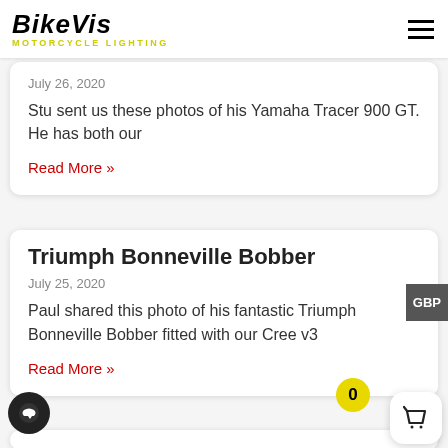BikeVis Motorcycle Lighting
July 26, 2020
Stu sent us these photos of his Yamaha Tracer 900 GT. He has both our
Read More »
Triumph Bonneville Bobber
July 25, 2020
Paul shared this photo of his fantastic Triumph Bonneville Bobber fitted with our Cree v3
Read More »